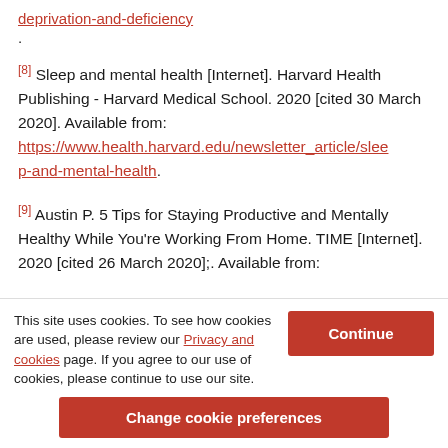deprivation-and-deficiency (link)
[8] Sleep and mental health [Internet]. Harvard Health Publishing - Harvard Medical School. 2020 [cited 30 March 2020]. Available from: https://www.health.harvard.edu/newsletter_article/sleep-and-mental-health.
[9] Austin P. 5 Tips for Staying Productive and Mentally Healthy While You're Working From Home. TIME [Internet]. 2020 [cited 26 March 2020];. Available from:
This site uses cookies. To see how cookies are used, please review our Privacy and cookies page. If you agree to our use of cookies, please continue to use our site.
Continue
Change cookie preferences